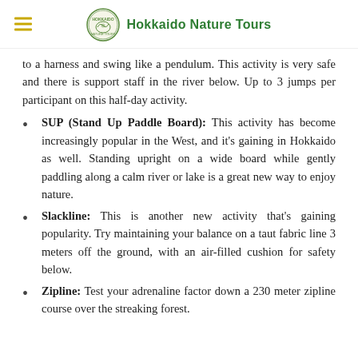Hokkaido Nature Tours
to a harness and swing like a pendulum. This activity is very safe and there is support staff in the river below. Up to 3 jumps per participant on this half-day activity.
SUP (Stand Up Paddle Board): This activity has become increasingly popular in the West, and it's gaining in Hokkaido as well. Standing upright on a wide board while gently paddling along a calm river or lake is a great new way to enjoy nature.
Slackline: This is another new activity that's gaining popularity. Try maintaining your balance on a taut fabric line 3 meters off the ground, with an air-filled cushion for safety below.
Zipline: Test your adrenaline factor down a 230 meter zipline course over the streaking forest.